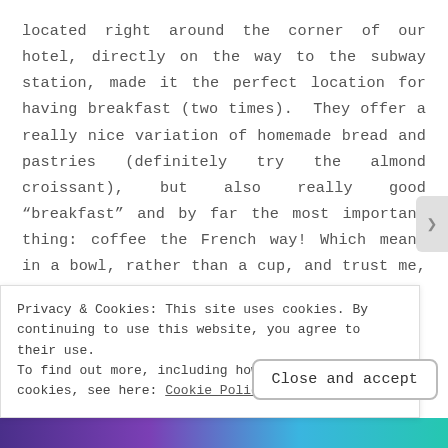located right around the corner of our hotel, directly on the way to the subway station, made it the perfect location for having breakfast (two times). They offer a really nice variation of homemade bread and pastries (definitely try the almond croissant), but also really good “breakfast” and by far the most important thing: coffee the French way! Which means in a bowl, rather than a cup, and trust me, this is your new
Privacy & Cookies: This site uses cookies. By continuing to use this website, you agree to their use.
To find out more, including how to control cookies, see here: Cookie Policy
Close and accept